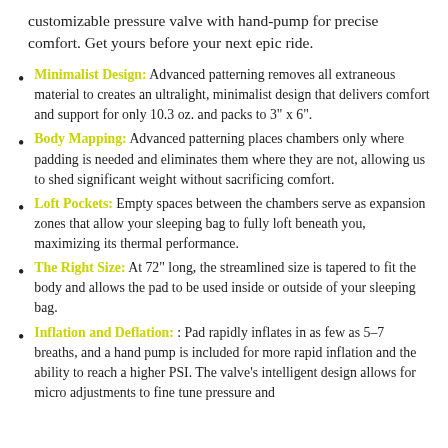customizable pressure valve with hand-pump for precise comfort. Get yours before your next epic ride.
Minimalist Design: Advanced patterning removes all extraneous material to creates an ultralight, minimalist design that delivers comfort and support for only 10.3 oz. and packs to 3" x 6".
Body Mapping: Advanced patterning places chambers only where padding is needed and eliminates them where they are not, allowing us to shed significant weight without sacrificing comfort.
Loft Pockets: Empty spaces between the chambers serve as expansion zones that allow your sleeping bag to fully loft beneath you, maximizing its thermal performance.
The Right Size: At 72" long, the streamlined size is tapered to fit the body and allows the pad to be used inside or outside of your sleeping bag.
Inflation and Deflation: : Pad rapidly inflates in as few as 5-7 breaths, and a hand pump is included for more rapid inflation and the ability to reach a higher PSI. The valve's intelligent design allows for micro adjustments to fine tune pressure and